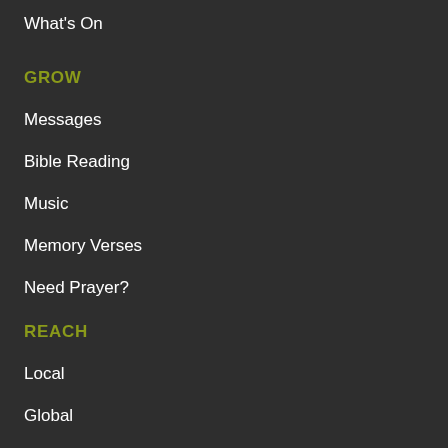What's On
GROW
Messages
Bible Reading
Music
Memory Verses
Need Prayer?
REACH
Local
Global